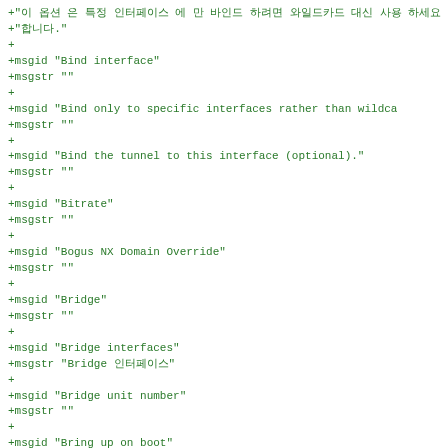+"이 옵션 은 특정 인터페이스 에 만 바인드 하려면 와일드카드 대신 사용 하세요 "
+"합니다."
+
+msgid "Bind interface"
+msgstr ""
+
+msgid "Bind only to specific interfaces rather than wildca
+msgstr ""
+
+msgid "Bind the tunnel to this interface (optional)."
+msgstr ""
+
+msgid "Bitrate"
+msgstr ""
+
+msgid "Bogus NX Domain Override"
+msgstr ""
+
+msgid "Bridge"
+msgstr ""
+
+msgid "Bridge interfaces"
+msgstr "Bridge 인터페이스"
+
+msgid "Bridge unit number"
+msgstr ""
+
+msgid "Bring up on boot"
+msgstr "부팅 시작시"
+
+msgid "Broadcom 802.11%s Wireless Controller"
+msgstr ""